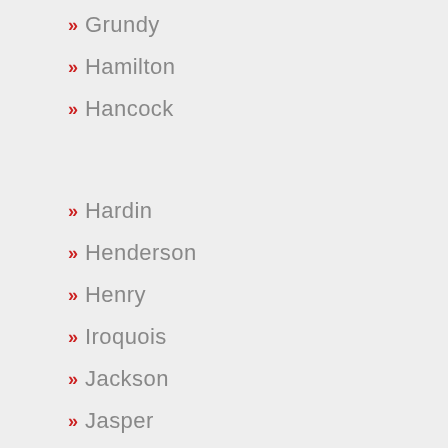Grundy
Hamilton
Hancock
Hardin
Henderson
Henry
Iroquois
Jackson
Jasper
Jefferson
Jersey
Jo Daviess
Johnson